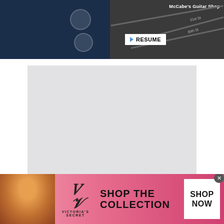[Figure (screenshot): Dark navy blue screen with circular icons on dark background — app UI screenshot]
[Figure (screenshot): Dark map view showing 'McCabe's Guitar Shop' label, street names (21st St, 30th St), and a blue RESUME navigation button]
[Figure (screenshot): Large light grey blank/placeholder image area]
Additionally, you can place a contact over something like the Maps icon and you will be taken to your map application of
[Figure (photo): Victoria's Secret advertisement banner showing a model, VS logo, 'SHOP THE COLLECTION' text, and 'SHOP NOW' button]